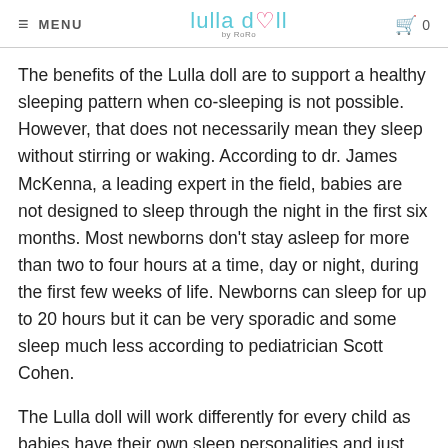≡ MENU | Lulla doll by RoRo | 🛒 0
The benefits of the Lulla doll are to support a healthy sleeping pattern when co-sleeping is not possible. However, that does not necessarily mean they sleep without stirring or waking. According to dr. James McKenna, a leading expert in the field, babies are not designed to sleep through the night in the first six months. Most newborns don't stay asleep for more than two to four hours at a time, day or night, during the first few weeks of life. Newborns can sleep for up to 20 hours but it can be very sporadic and some sleep much less according to pediatrician Scott Cohen.
The Lulla doll will work differently for every child as babies have their own sleep personalities and just like adults some are light sleepers and others are heavy